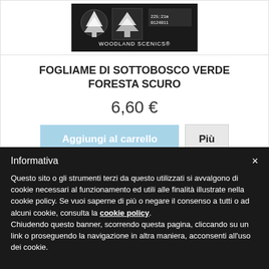[Figure (photo): Woodland Scenics product package - dark packaging with tree logo and product details]
FOGLIAME DI SOTTOBOSCO VERDE FORESTA SCURO
6,60 €
Aggiungi al carrello
Più
Informativa
Questo sito o gli strumenti terzi da questo utilizzati si avvalgono di cookie necessari al funzionamento ed utili alle finalità illustrate nella cookie policy. Se vuoi saperne di più o negare il consenso a tutti o ad alcuni cookie, consulta la cookie policy. Chiudendo questo banner, scorrendo questa pagina, cliccando su un link o proseguendo la navigazione in altra maniera, acconsenti all'uso dei cookie.